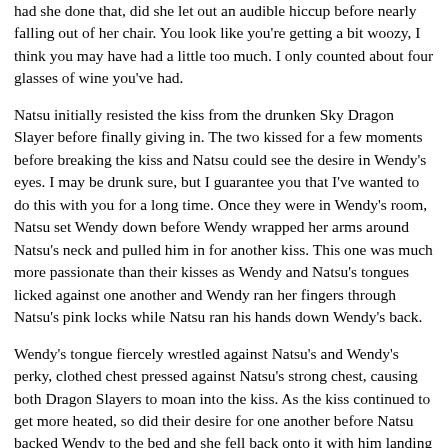had she done that, did she let out an audible hiccup before nearly falling out of her chair. You look like you're getting a bit woozy, I think you may have had a little too much. I only counted about four glasses of wine you've had.
Natsu initially resisted the kiss from the drunken Sky Dragon Slayer before finally giving in. The two kissed for a few moments before breaking the kiss and Natsu could see the desire in Wendy's eyes. I may be drunk sure, but I guarantee you that I've wanted to do this with you for a long time. Once they were in Wendy's room, Natsu set Wendy down before Wendy wrapped her arms around Natsu's neck and pulled him in for another kiss. This one was much more passionate than their kisses as Wendy and Natsu's tongues licked against one another and Wendy ran her fingers through Natsu's pink locks while Natsu ran his hands down Wendy's back.
Wendy's tongue fiercely wrestled against Natsu's and Wendy's perky, clothed chest pressed against Natsu's strong chest, causing both Dragon Slayers to moan into the kiss. As the kiss continued to get more heated, so did their desire for one another before Natsu backed Wendy to the bed and she fell back onto it with him landing on top of her. Natsu smiled down at Wendy before he reached for the bottom of Wendy's dress and began to lift it up. He slowly lifted the dress off her until it was completely off leaving the Sky Dragon Slayer in a sky blue bra and panties. Wendy blushed at